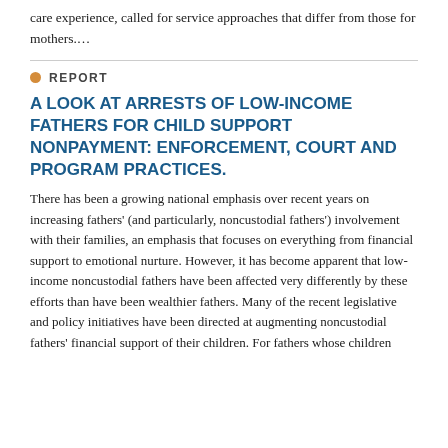care experience, called for service approaches that differ from those for mothers….
REPORT
A LOOK AT ARRESTS OF LOW-INCOME FATHERS FOR CHILD SUPPORT NONPAYMENT: ENFORCEMENT, COURT AND PROGRAM PRACTICES.
There has been a growing national emphasis over recent years on increasing fathers' (and particularly, noncustodial fathers') involvement with their families, an emphasis that focuses on everything from financial support to emotional nurture. However, it has become apparent that low-income noncustodial fathers have been affected very differently by these efforts than have been wealthier fathers. Many of the recent legislative and policy initiatives have been directed at augmenting noncustodial fathers' financial support of their children. For fathers whose children are born (or born are locally) and live...